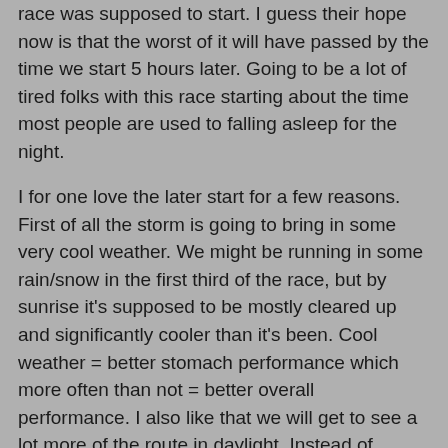race was supposed to start. I guess their hope now is that the worst of it will have passed by the time we start 5 hours later. Going to be a lot of tired folks with this race starting about the time most people are used to falling asleep for the night.
I for one love the later start for a few reasons. First of all the storm is going to bring in some very cool weather. We might be running in some rain/snow in the first third of the race, but by sunrise it's supposed to be mostly cleared up and significantly cooler than it's been. Cool weather = better stomach performance which more often than not = better overall performance. I also like that we will get to see a lot more of the route in daylight. Instead of running in darkness for 10+ hours we will do it for about 6 or 7. I love running in the dark, but these mountains here are so amazingly dramatic I want to see as much of them as possible. And the third reason I like the later race start is just that it's something different. In the United States there is such a format to most of our ultras. They're almost all one of 4 exact distances and they almost all start between 5:00 and 8:00am. I love that this is simply a run around a mountain (it